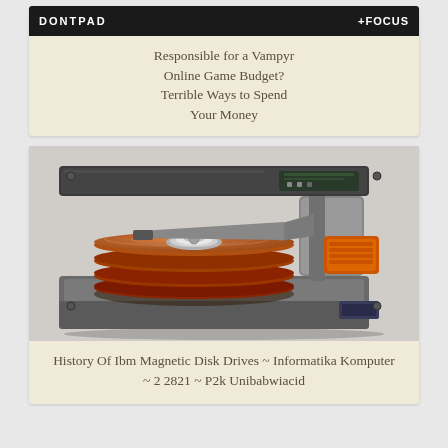[Figure (screenshot): Top card with dark header bar showing logos 'DONTPAD' and 'FOCUS', and beige background with centered text title about Vampyr Online Game Budget]
Responsible for a Vampyr Online Game Budget? Terrible Ways to Spend Your Money
[Figure (photo): Photograph of an opened IBM magnetic hard disk drive showing stacked magnetic platters (reddish-brown discs) and the read/write arm assembly with actuator mechanism, photographed on a white background]
History Of Ibm Magnetic Disk Drives ~ Informatika Komputer ~ 2 2821 ~ P2k Unibabwiacid